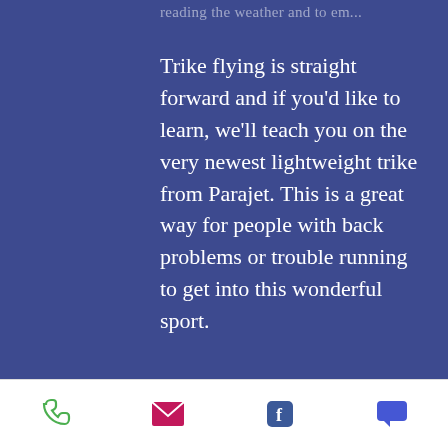…reading the weather and to em…
Trike flying is straight forward and if you'd like to learn, we'll teach you on the very newest lightweight trike from Parajet. This is a great way for people with back problems or trouble running to get into this wonderful sport.
Accommodation
We believe that comfortable and high quality
[Figure (screenshot): Scroll-to-top button (dark blue square with upward chevron arrow)]
Phone | Email | Facebook | Chat icons